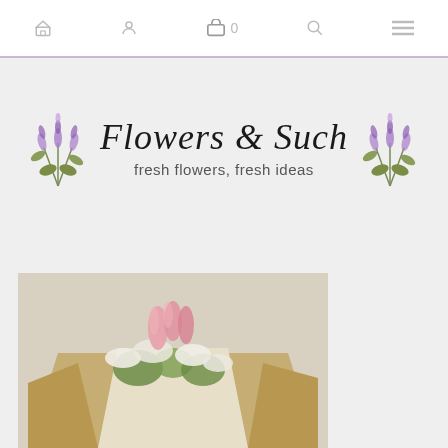Navigation bar with icons: home, profile, cart (0), search, menu
[Figure (logo): Flowers & Such logo with lavender bouquet illustrations on either side. Text reads 'Flowers & Such' in script font with tagline 'fresh flowers, fresh ideas' below.]
[Figure (photo): Photo of a wrapped bouquet of flowers including pink tulips and white baby's breath wrapped in kraft paper, set against a neutral background.]